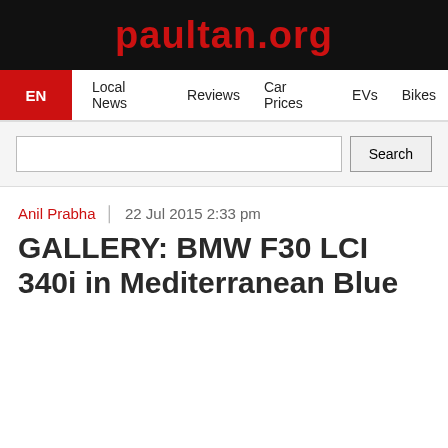paultan.org
EN  Local News  Reviews  Car Prices  EVs  Bikes
Search
Anil Prabha  |  22 Jul 2015 2:33 pm
GALLERY: BMW F30 LCI 340i in Mediterranean Blue